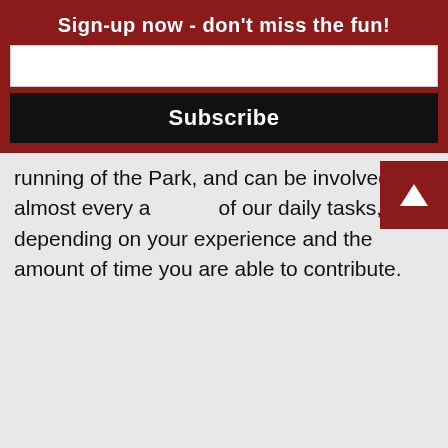Sign-up now - don't miss the fun!
running of the Park, and can be involved in almost every aspect of our daily tasks, depending on your experience and the amount of time you are able to contribute.